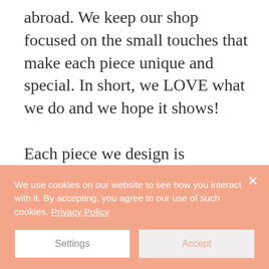abroad.  We keep our shop focused on the small touches that make each piece unique and special.  In short, we LOVE what we do and we hope it shows!
Each piece we design is personalized by either my team or myself with a lot of love, care and prayer.  We often use natural materials direct from
We use cookies on our website to see how you interact with it. By accepting, you agree to our use of such cookies. Privacy Policy